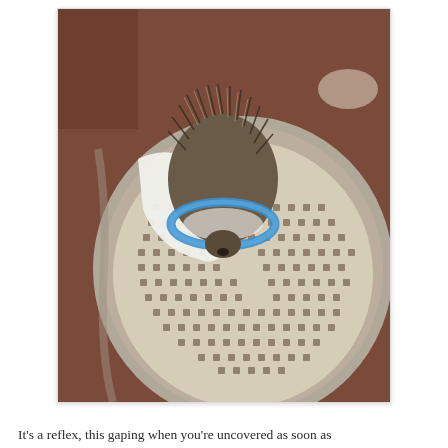[Figure (photo): Overhead view of a small hedgehog wearing a blue elizabethan collar (cone) sitting on a beige perforated surface inside a clear round container. The hedgehog's spiny back and dark nose are visible.]
It's a reflex, this gaping when you're uncovered as soon as